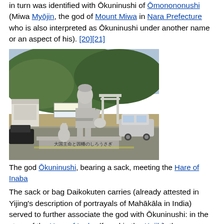in turn was identified with Ōkuninushi of Ōmonononushi (Miwa Myōjin, the god of Mount Miwa in Nara Prefecture who is also interpreted as Ōkuninushi under another name or an aspect of his). [20][21]
[Figure (photo): A stone statue of the god Ōkuninushi bearing a sack, with a rabbit figure beside him, on a stone pedestal with Japanese text. Behind is a torii gate, trees on a hillside, buildings and a parked SUV.]
The god Ōkuninushi, bearing a sack, meeting the Hare of Inaba
The sack or bag Daikokuten carries (already attested in Yijing's description of portrayals of Mahākāla in India) served to further associate the god with Ōkuninushi: in the story of the Hare of Inaba (found in the Kojiki), the young Ōkuninushi is said to have originally been treated by his wicked elder brothers as their luggage carrier [22][23][24] Besides the sack, Daikokuten began to